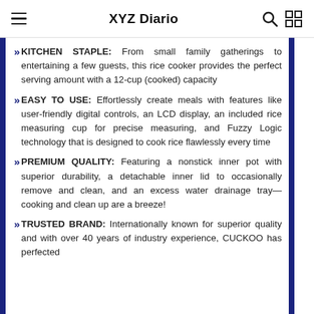XYZ Diario
KITCHEN STAPLE: From small family gatherings to entertaining a few guests, this rice cooker provides the perfect serving amount with a 12-cup (cooked) capacity
EASY TO USE: Effortlessly create meals with features like user-friendly digital controls, an LCD display, an included rice measuring cup for precise measuring, and Fuzzy Logic technology that is designed to cook rice flawlessly every time
PREMIUM QUALITY: Featuring a nonstick inner pot with superior durability, a detachable inner lid to occasionally remove and clean, and an excess water drainage tray—cooking and clean up are a breeze!
TRUSTED BRAND: Internationally known for superior quality and with over 40 years of industry experience, CUCKOO has perfected